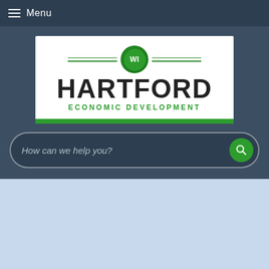Menu
[Figure (logo): Hartford Economic Development WI logo — green circle with WI text, horizontal lines, HARTFORD in large bold black text, ECONOMIC DEVELOPMENT in green spaced caps, green bar at bottom]
How can we help you?
Home › Community › City Development › Economic Development › HADC News